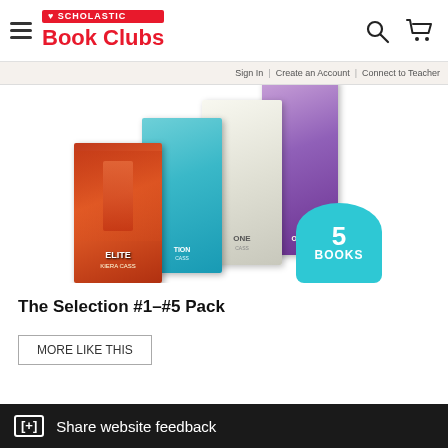SCHOLASTIC Book Clubs
Sign In | Create an Account | Connect to Teacher
[Figure (photo): Scholastic Book Clubs product image showing The Selection series 5-book pack with book covers fanned out and a teal badge reading '5 BOOKS']
The Selection #1–#5 Pack
MORE LIKE THIS
[+] Share website feedback